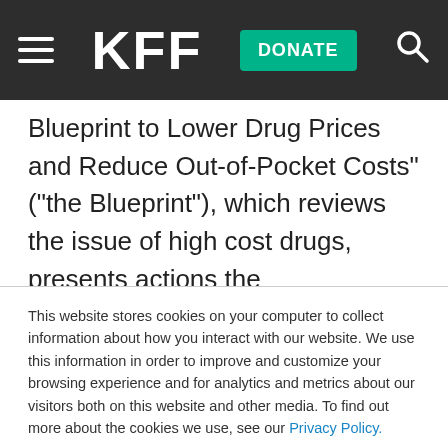KFF — DONATE
Blueprint to Lower Drug Prices and Reduce Out-of-Pocket Costs” (“the Blueprint”), which reviews the issue of high cost drugs, presents actions the Administration has already taken, lists actions that the Administration may undertake or promote going forward, and seeks feedback on potential actions. The Blueprint includes
This website stores cookies on your computer to collect information about how you interact with our website. We use this information in order to improve and customize your browsing experience and for analytics and metrics about our visitors both on this website and other media. To find out more about the cookies we use, see our Privacy Policy.
Accept